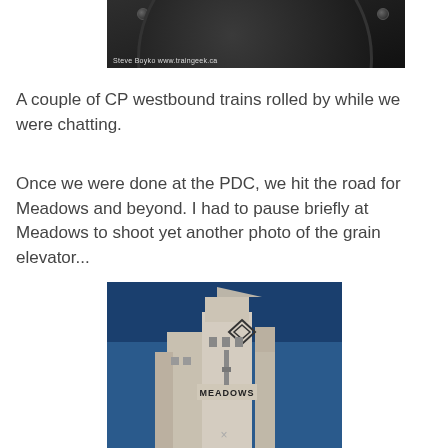[Figure (photo): Close-up of dark metal circular mechanical part with bolts, with photo credit 'Steve Boyko www.traingeek.ca' visible at bottom left]
A couple of CP westbound trains rolled by while we were chatting.
Once we were done at the PDC, we hit the road for Meadows and beyond. I had to pause briefly at Meadows to shoot yet another photo of the grain elevator...
[Figure (photo): Grain elevator building with 'MEADOWS' text painted on it against a blue sky background]
×